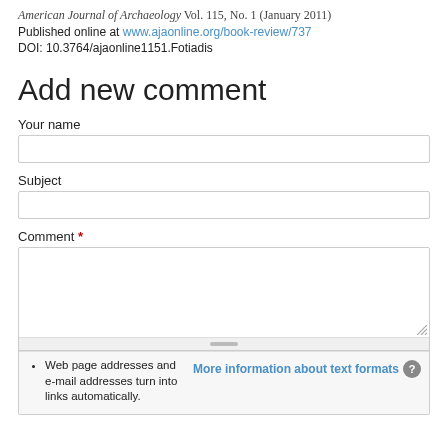American Journal of Archaeology Vol. 115, No. 1 (January 2011)
Published online at www.ajaonline.org/book-review/737
DOI: 10.3764/ajaonline1151.Fotiadis
Add new comment
Your name
Subject
Comment *
Web page addresses and e-mail addresses turn into links automatically.
More information about text formats